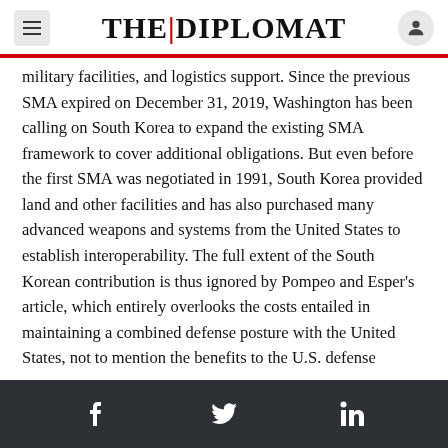THE DIPLOMAT
military facilities, and logistics support. Since the previous SMA expired on December 31, 2019, Washington has been calling on South Korea to expand the existing SMA framework to cover additional obligations. But even before the first SMA was negotiated in 1991, South Korea provided land and other facilities and has also purchased many advanced weapons and systems from the United States to establish interoperability. The full extent of the South Korean contribution is thus ignored by Pompeo and Esper's article, which entirely overlooks the costs entailed in maintaining a combined defense posture with the United States, not to mention the benefits to the U.S. defense
f  Twitter  in